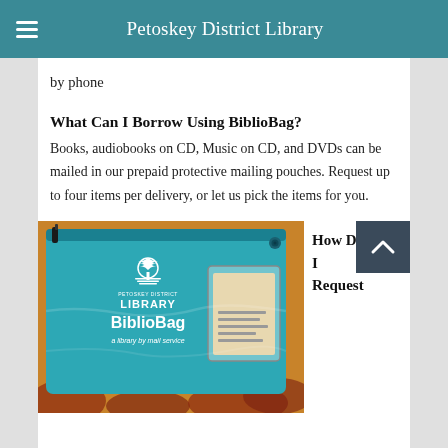Petoskey District Library
by phone
What Can I Borrow Using BiblioBag?
Books, audiobooks on CD, Music on CD, and DVDs can be mailed in our prepaid protective mailing pouches. Request up to four items per delivery, or let us pick the items for you.
[Figure (photo): A teal/turquoise BiblioBag mailing pouch with the Petoskey District Library logo, a tree emblem, and text reading 'PETOSKEY DISTRICT LIBRARY BiblioBag a library by mail service', along with a clear plastic address window pocket. The bag is laid flat on an orange and red patterned surface.]
How Do I Request